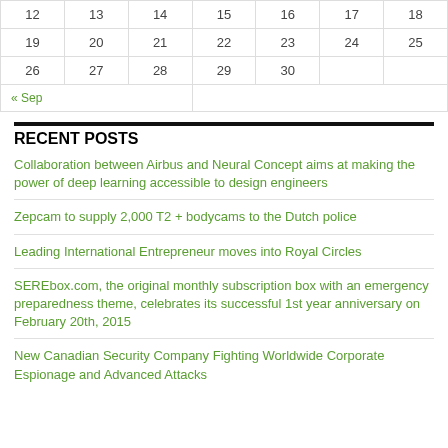| 12 | 13 | 14 | 15 | 16 | 17 | 18 |
| 19 | 20 | 21 | 22 | 23 | 24 | 25 |
| 26 | 27 | 28 | 29 | 30 |  |  |
| « Sep |  |  |  |  |  |  |
RECENT POSTS
Collaboration between Airbus and Neural Concept aims at making the power of deep learning accessible to design engineers
Zepcam to supply 2,000 T2 + bodycams to the Dutch police
Leading International Entrepreneur moves into Royal Circles
SEREbox.com, the original monthly subscription box with an emergency preparedness theme, celebrates its successful 1st year anniversary on February 20th, 2015
New Canadian Security Company Fighting Worldwide Corporate Espionage and Advanced Attacks